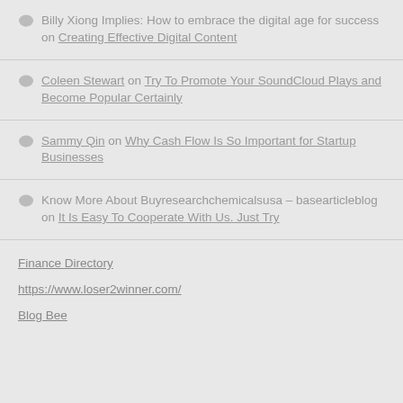Billy Xiong Implies: How to embrace the digital age for success on Creating Effective Digital Content
Coleen Stewart on Try To Promote Your SoundCloud Plays and Become Popular Certainly
Sammy Qin on Why Cash Flow Is So Important for Startup Businesses
Know More About Buyresearchchemicalsusa – basearticleblog on It Is Easy To Cooperate With Us. Just Try
Finance Directory
https://www.loser2winner.com/
Blog Bee